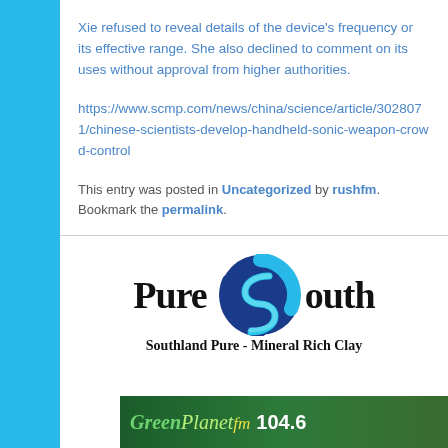Xie refused to reveal details of the device's frequency or its effective range. She also declined to comment on its uses without approval from higher authorities.
https://www.scmp.com/news/china/science/article/3028071/chinese-scientists-develop-handheld-sonic-weapon-crowd-control
This entry was posted in Uncategorized by rushfm. Bookmark the permalink.
[Figure (logo): Pure South logo with circular S emblem and tagline 'Southland Pure - Mineral Rich Clay']
[Figure (screenshot): GreenPlanet fm 104.6 banner at the bottom of the page]